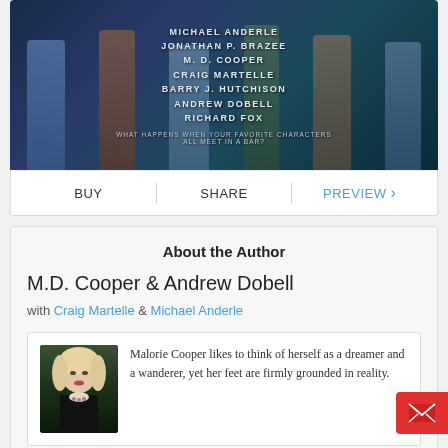[Figure (photo): Book cover showing silhouettes of people standing, with authors listed: MICHAEL ANDERLE, JONATHAN P. BRAZEE, M. D. COOPER, CRAIG MARTELLE, BARRY J. HUTCHISON, ANDREW DOBELL, RICHARD FOX. Tagline: WHAT HAPPENS WHEN YOUR FAVORITE CHARACTERS ALL MEET IN A BAR?]
BUY
SHARE
PREVIEW
About the Author
M.D. Cooper & Andrew Dobell
with Craig Martelle & Michael Anderle
[Figure (photo): Author photo of a blonde woman in black clothing]
Malorie Cooper likes to think of herself as a dreamer and a wanderer, yet her feet are firmly grounded in reality.